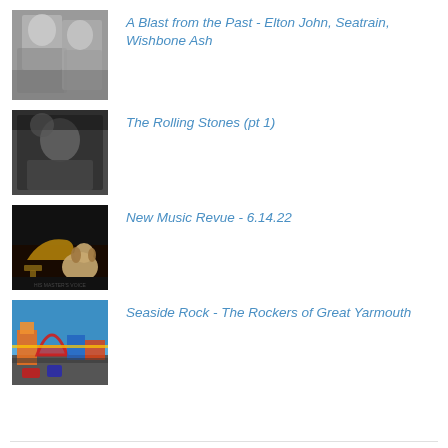[Figure (photo): Black and white photo of people, possibly musicians]
A Blast from the Past - Elton John, Seatrain, Wishbone Ash
[Figure (photo): Black and white photo of a figure with a dog or similar scene]
The Rolling Stones (pt 1)
[Figure (photo): Dark album cover image with a dog listening to a gramophone (His Master's Voice style)]
New Music Revue - 6.14.22
[Figure (photo): Colorful photo of a seaside amusement area with rides and a blue sky]
Seaside Rock - The Rockers of Great Yarmouth